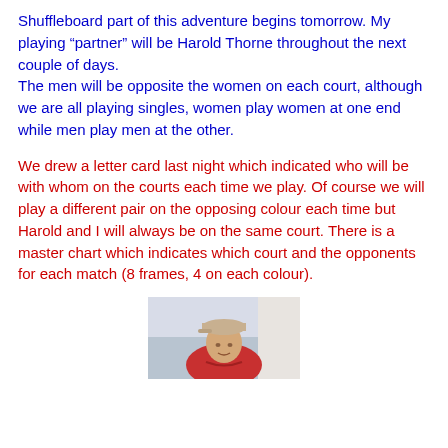Shuffleboard part of this adventure begins tomorrow. My playing “partner” will be Harold Thorne throughout the next couple of days. The men will be opposite the women on each court, although we are all playing singles, women play women at one end while men play men at the other.
We drew a letter card last night which indicated who will be with whom on the courts each time we play. Of course we will play a different pair on the opposing colour each time but Harold and I will always be on the same court. There is a master chart which indicates which court and the opponents for each match (8 frames, 4 on each colour).
[Figure (photo): Partial photo of a person wearing a beige/tan cap and red jacket, appears to be outdoors]